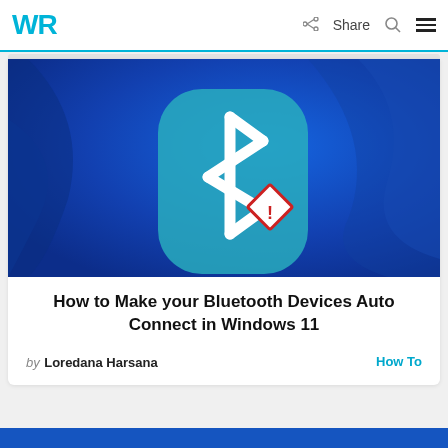WR | Share
[Figure (screenshot): Windows 11 desktop wallpaper (blue abstract waves) with a teal rounded-rectangle Bluetooth icon in the center and a small red diamond warning/error badge in the lower-right corner of the icon.]
How to Make your Bluetooth Devices Auto Connect in Windows 11
by Loredana Harsana    How To